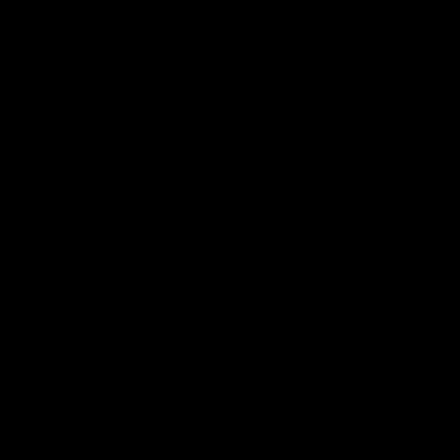F. Prada
08/08/20
more info
news
Se han p galaxias acelerar:
MultiDark participa F. Prada BOSS
30/03/20
more info
Press Res
250 CTA in Madri
UCM - M
25/11/20
more info